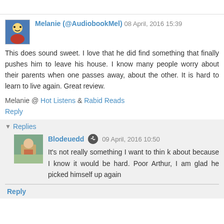Melanie (@AudiobookMel) 08 April, 2016 15:39
This does sound sweet. I love that he did find something that finally pushes him to leave his house. I know many people worry about their parents when one passes away, about the other. It is hard to learn to live again. Great review.
Melanie @ Hot Listens & Rabid Reads
Reply
▼ Replies
Blodeuedd 09 April, 2016 10:50
It's not really something I want to thin k about because I know it would be hard. Poor Arthur, I am glad he picked himself up again
Reply